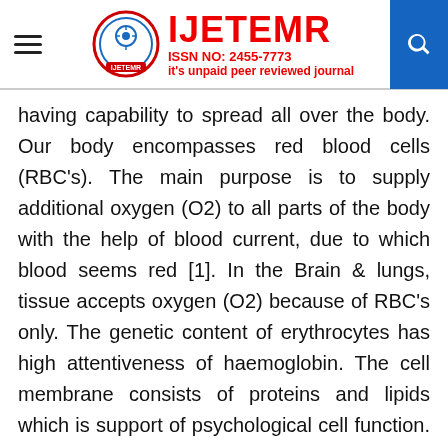IJETEMR ISSN NO: 2455-7773 it's unpaid peer reviewed journal
having capability to spread all over the body. Our body encompasses red blood cells (RBC's). The main purpose is to supply additional oxygen (O2) to all parts of the body with the help of blood current, due to which blood seems red [1]. In the Brain & lungs, tissue accepts oxygen (O2) because of RBC's only. The genetic content of erythrocytes has high attentiveness of haemoglobin. The cell membrane consists of proteins and lipids which is support of psychological cell function. They do not contain any imperative part of cell, which includes haemoglobin. Around 20 lakhs new RBC's are fashioned per second [2]. The cells are fashioned in the bone marrow and rotate through the body for about 4 months to & from in arteries and